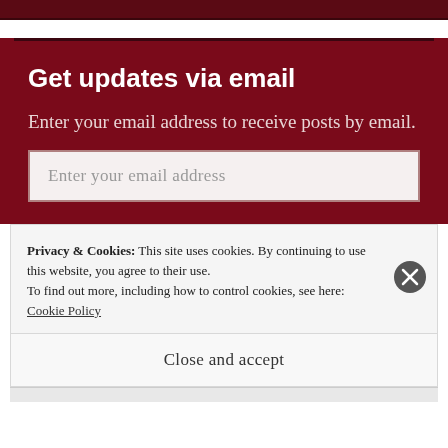Get updates via email
Enter your email address to receive posts by email.
Enter your email address
Privacy & Cookies: This site uses cookies. By continuing to use this website, you agree to their use.
To find out more, including how to control cookies, see here: Cookie Policy
Close and accept